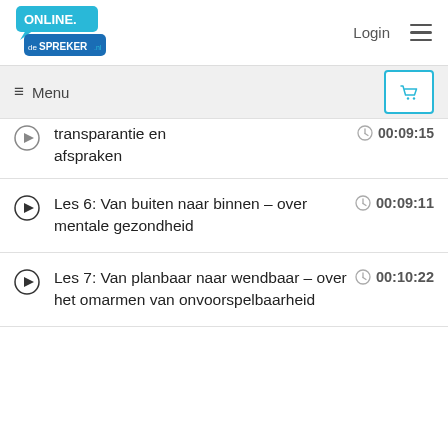[Figure (logo): Online.deSPREKER.nl logo in blue speech bubble shapes]
Login
≡ Menu
transparantie en afspraken  00:09:15
Les 6: Van buiten naar binnen – over mentale gezondheid  00:09:11
Les 7: Van planbaar naar wendbaar – over het omarmen van onvoorspelbaarheid  00:10:22